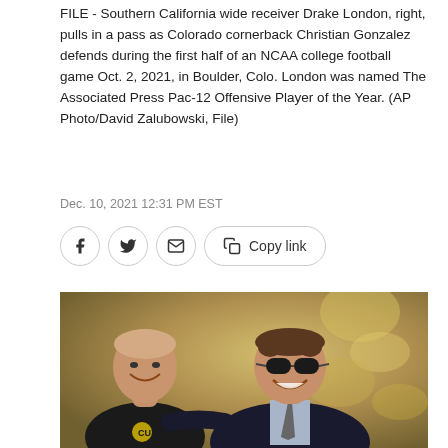FILE - Southern California wide receiver Drake London, right, pulls in a pass as Colorado cornerback Christian Gonzalez defends during the first half of an NCAA college football game Oct. 2, 2021, in Boulder, Colo. London was named The Associated Press Pac-12 Offensive Player of the Year. (AP Photo/David Zalubowski, File)
Dec. 10, 2021 12:31 PM EST
[Figure (photo): Two men smiling and laughing together outdoors at a football stadium. The man on the left is wearing a black shirt with a CU (Colorado) logo, and the man on the right is wearing sunglasses and a dark blazer with a light blue shirt and tie.]